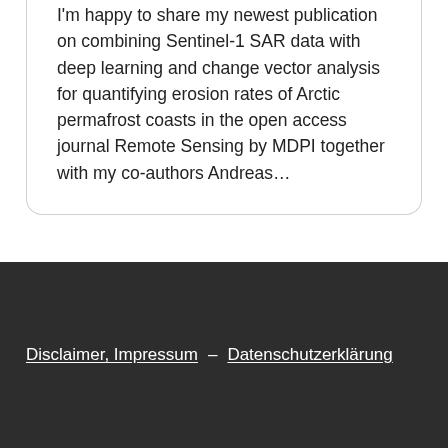I'm happy to share my newest publication on combining Sentinel-1 SAR data with deep learning and change vector analysis for quantifying erosion rates of Arctic permafrost coasts in the open access journal Remote Sensing by MDPI together with my co-authors Andreas…
Disclaimer, Impressum – Datenschutzerklärung